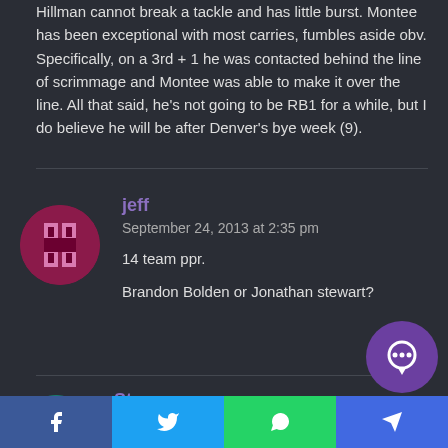Hillman cannot break a tackle and has little burst. Montee has been exceptional with most carries, fumbles aside obv. Specifically, on a 3rd + 1 he was contacted behind the line of scrimmage and Montee was able to make it over the line. All that said, he’s not going to be RB1 for a while, but I do believe he will be after Denver’s bye week (9).
jeff
September 24, 2013 at 2:35 pm

14 team ppr.

Brandon Bolden or Jonathan stewart?
Steve
September 24, 2013 at 2:38 pm